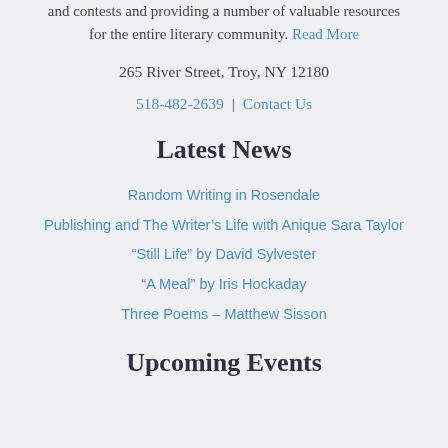and contests and providing a number of valuable resources for the entire literary community. Read More
265 River Street, Troy, NY 12180
518-482-2639 | Contact Us
Latest News
Random Writing in Rosendale
Publishing and The Writer's Life with Anique Sara Taylor
“Still Life” by David Sylvester
“A Meal” by Iris Hockaday
Three Poems – Matthew Sisson
Upcoming Events